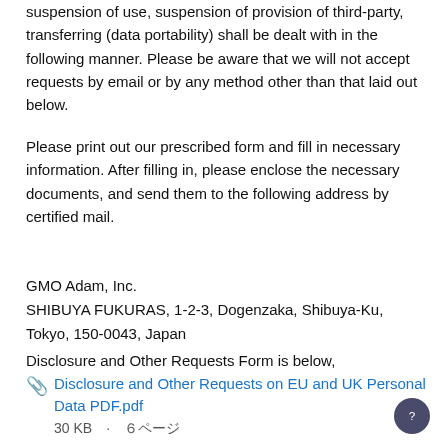suspension of use, suspension of provision of third-party transferring (data portability) shall be dealt with in the following manner. Please be aware that we will not accept requests by email or by any method other than that laid out below.
Please print out our prescribed form and fill in necessary information. After filling in, please enclose the necessary documents, and send them to the following address by certified mail.
GMO Adam, Inc.
SHIBUYA FUKURAS, 1-2-3, Dogenzaka, Shibuya-Ku, Tokyo, 150-0043, Japan
Disclosure and Other Requests Form is below,
Disclosure and Other Requests on EU and UK Personal Data PDF.pdf
30 KB · ６ページ